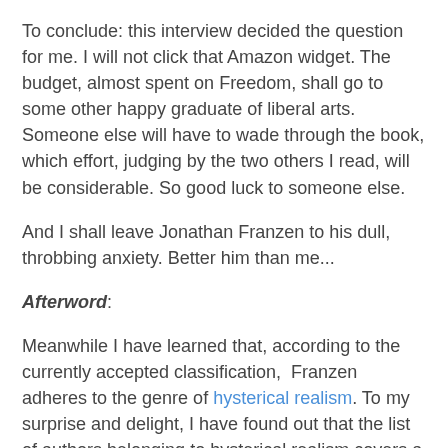To conclude: this interview decided the question for me. I will not click that Amazon widget. The budget, almost spent on Freedom, shall go to some other happy graduate of liberal arts. Someone else will have to wade through the book, which effort, judging by the two others I read, will be considerable. So good luck to someone else.
And I shall leave Jonathan Franzen to his dull, throbbing anxiety. Better him than me...
Afterword:
Meanwhile I have learned that, according to the currently accepted classification,  Franzen adheres to the genre of hysterical realism. To my surprise and delight, I have found out that the list of authors belonging to hysterical realism covers a high percentage of the books and authors I have mentioned re my feelings of inferiority and frustration... Lucky me, indeed. I've also discovered that it sometimes pays off to read literary critics. Go figure...
If you want to know more about this literary genre, I warmly